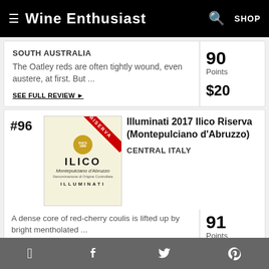Wine Enthusiast  SHOP
SOUTH AUSTRALIA
The Oatley reds are often tightly wound, even austere, at first. But ...
SEE FULL REVIEW ▶
90 Points $20
#96
[Figure (photo): Wine bottle label for Illuminati Ilico Riserva Montepulciano d'Abruzzo with gold seal and red Riserva banner]
Illuminati 2017 Ilico Riserva (Montepulciano d'Abruzzo)
CENTRAL ITALY
A dense core of red-cherry coulis is lifted up by bright mentholated ...
91 Points $34
Editors' Choice
Facebook  Twitter  Pinterest